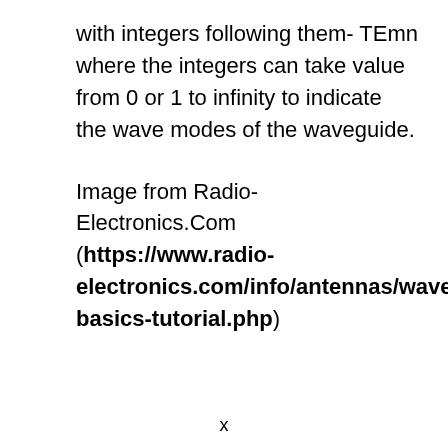with integers following them- TEmn where the integers can take value from 0 or 1 to infinity to indicate the wave modes of the waveguide.
Image from Radio-Electronics.Com (https://www.radio-electronics.com/info/antennas/waveguide/waveguide-basics-tutorial.php)
x